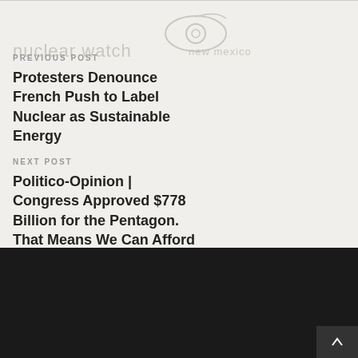[Figure (logo): Nuclear Watch New Mexico logo with eye graphic and text]
PREVIOUS POST
Protesters Denounce French Push to Label Nuclear as Sustainable Energy
NEXT POST
Politico-Opinion | Congress Approved $778 Billion for the Pentagon. That Means We Can Afford Build Back Better.
Search